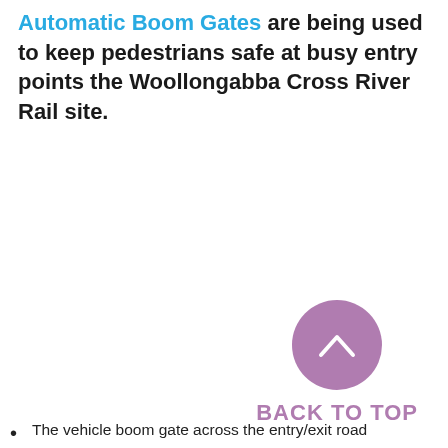Automatic Boom Gates are being used to keep pedestrians safe at busy entry points the Woollongabba Cross River Rail site.
[Figure (illustration): A mauve/purple circular button with an upward-pointing chevron arrow icon, representing a 'Back to Top' navigation button.]
BACK TO TOP
The vehicle boom gate across the entry/exit road